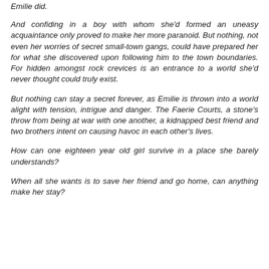Emilie did.
And confiding in a boy with whom she'd formed an uneasy acquaintance only proved to make her more paranoid. But nothing, not even her worries of secret small-town gangs, could have prepared her for what she discovered upon following him to the town boundaries. For hidden amongst rock crevices is an entrance to a world she'd never thought could truly exist.
But nothing can stay a secret forever, as Emilie is thrown into a world alight with tension, intrigue and danger. The Faerie Courts, a stone's throw from being at war with one another, a kidnapped best friend and two brothers intent on causing havoc in each other's lives.
How can one eighteen year old girl survive in a place she barely understands?
When all she wants is to save her friend and go home, can anything make her stay?